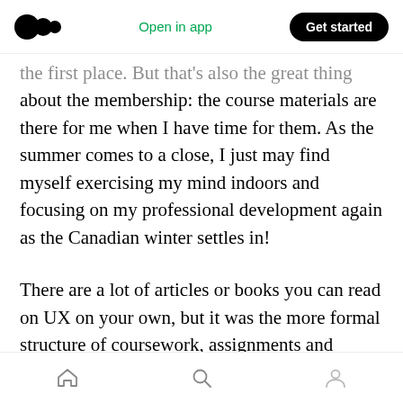Medium logo | Open in app | Get started
the first place. But that's also the great thing about the membership: the course materials are there for me when I have time for them. As the summer comes to a close, I just may find myself exercising my mind indoors and focusing on my professional development again as the Canadian winter settles in!
There are a lot of articles or books you can read on UX on your own, but it was the more formal structure of coursework, assignments and lessons that gave me the confidence that I was really competent. I'm glad I signed up for the IDF,
Home | Search | Profile